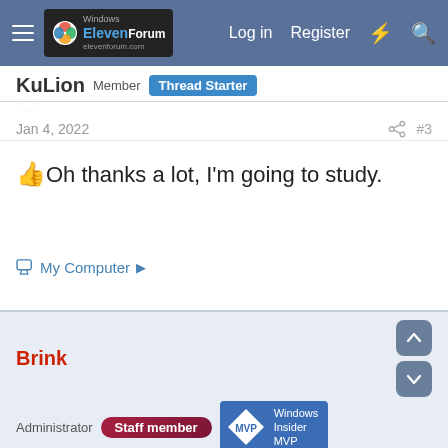Windows Eleven Forum — Log in  Register
KuLion
Member  Thread Starter
Jan 4, 2022  #3
👍Oh thanks a lot, I'm going to study.
My Computer ▶
Brink
Administrator  Staff member  Windows Insider MVP
Jan 4, 2022  #4